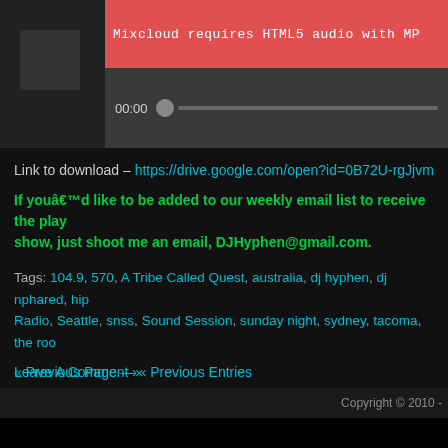[Figure (screenshot): Media player with error banner showing 'Mixcloud requires HTML5 audio with MP...' on red background, with playback time 00:00 and progress bar]
Link to download – https://drive.google.com/open?id=0B72U-rgJjvmWWGZ...
If you'd like to be added to our weekly email list to receive the play... show, just shoot me an email, DJHyphen@gmail.com.
Tags: 104.9, 570, A Tribe Called Quest, australia, dj hyphen, dj nphared, hip... Radio, Seattle, snss, Sound Session, sunday night, sydney, tacoma, the roo...
Leave A Comment »
« Previous Page — « Previous Entries
Copyright © 2010 -